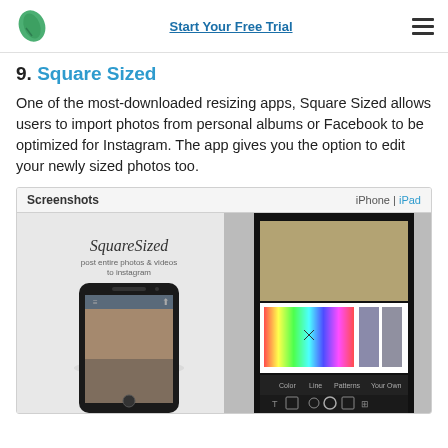Start Your Free Trial
9. Square Sized
One of the most-downloaded resizing apps, Square Sized allows users to import photos from personal albums or Facebook to be optimized for Instagram. The app gives you the option to edit your newly sized photos too.
[Figure (screenshot): App Store screenshots section showing two phone screenshots of the SquareSized app. Left screenshot shows the app branding with 'SquareSized - post entire photos & videos to instagram' text and a phone displaying a woman's photo. Right screenshot shows the color editing interface with a bicycle photo and color picker.]